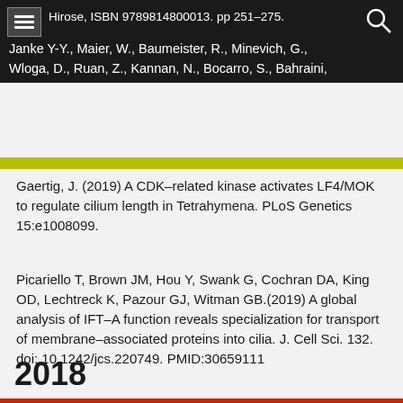Hirose, ISBN 9789814800013. pp 251–275. Janke Y-Y., Maier, W., Baumeister, R., Minevich, G., Wloga, D., Ruan, Z., Kannan, N., Bocarro, S., Bahraini, Gaertig, J. (2019) A CDK–related kinase activates LF4/MOK to regulate cilium length in Tetrahymena. PLoS Genetics 15:e1008099.
Gaertig, J. (2019) A CDK–related kinase activates LF4/MOK to regulate cilium length in Tetrahymena. PLoS Genetics 15:e1008099.
Picariello T, Brown JM, Hou Y, Swank G, Cochran DA, King OD, Lechtreck K, Pazour GJ, Witman GB.(2019) A global analysis of IFT–A function reveals specialization for transport of membrane–associated proteins into cilia. J. Cell Sci. 132. doi: 10.1242/jcs.220749. PMID:30659111
2018